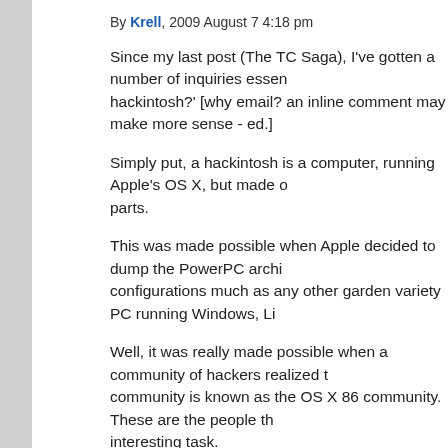By Krell, 2009 August 7 4:18 pm
Since my last post (The TC Saga), I've gotten a number of inquiries essentially asking 'how do I build a hackintosh?' [why email? an inline comment may make more sense - ed.]
Simply put, a hackintosh is a computer, running Apple's OS X, but made of commodity off-the-shelf PC parts.
This was made possible when Apple decided to dump the PowerPC architecture and move to Intel x86 configurations much as any other garden variety PC running Windows, Li…
Well, it was really made possible when a community of hackers realized that this could be done. This community is known as the OS X 86 community. These are the people th… interesting task.
Since this architectural change, the primary technical difference between an Apple Mac and a PC is that the low level system firmware in the Apple case is something called '…' generic white box machine employs 'BIOS' (Basic Input/Output System). … from disk and execute a chunk of code that implements EFI. Once EFI is … accomplished either by a hacked version of the OS X kernel, or by a mod…
Note that EFI is not Apple technology. It was actually developed by Intel, … accompany Itanium based systems.
So what does this all mean in practical terms? For a hardware investment… parts from my computing junk bonepile, plus a software investment of a…